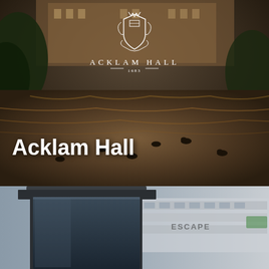[Figure (photo): Aerial/ground-level view of Acklam Hall, a grand brick building reflected in a lake with ducks swimming. Trees frame the scene. The Acklam Hall crest/logo and text 'ACKLAM HALL — 1683 —' appear overlaid in white near the top center. The text 'Acklam Hall' appears in large white bold letters in the lower left of the image.]
[Figure (photo): Close-up photo of a modern bus shelter/street furniture with dark metal frame and blue panel, with a blurred background showing a bus or commercial vehicle with partial text 'ESCAPE' visible.]